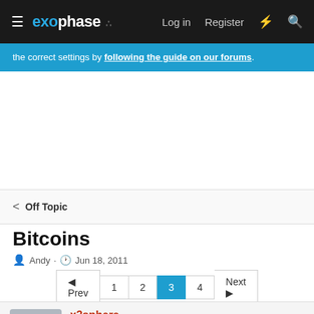exophase   Log in   Register
the correct settings by following the guide on our forums.
< Off Topic
Bitcoins
Andy · Jun 18, 2011
Prev 1 2 3 4 Next
x3sphere
Administrator  Staff member  Enforcer Team
Game Info Editor